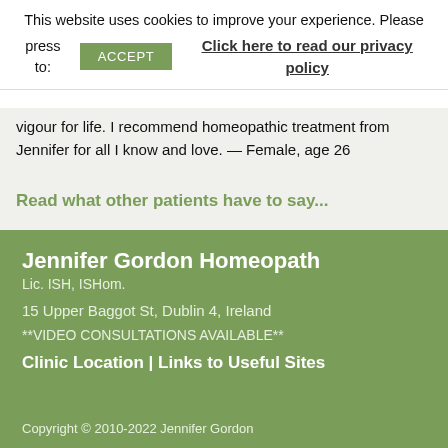This website uses cookies to improve your experience. Please press to:  ACCEPT  Click here to read our privacy policy
vigour for life. I recommend homeopathic treatment from Jennifer for all I know and love. — Female, age 26
Read what other patients have to say...
Jennifer Gordon Homeopath
Lic. ISH, ISHom.

15 Upper Baggot St, Dublin 4, Ireland

**VIDEO CONSULTATIONS AVAILABLE**

Clinic Location | Links to Useful Sites
Copyright © 2010-2022 Jennifer Gordon